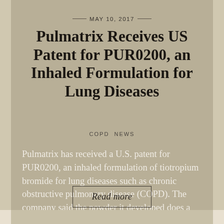MAY 10, 2017
Pulmatrix Receives US Patent for PUR0200, an Inhaled Formulation for Lung Diseases
COPD  NEWS
Pulmatrix has received a U.S. patent for PUR0200, an inhaled formulation of tiotropium bromide for lung diseases such as chronic obstructive pulmonary disease (COPD). The company said the powder it developed does a better …
Read more